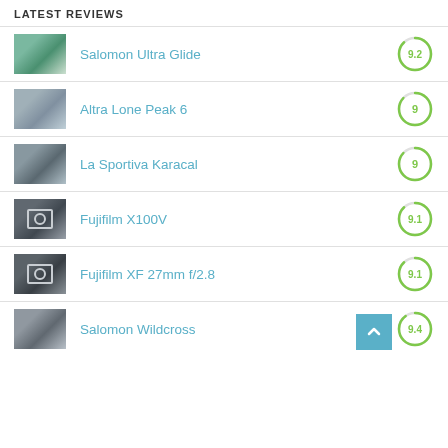LATEST REVIEWS
Salomon Ultra Glide
Altra Lone Peak 6
La Sportiva Karacal
Fujifilm X100V
Fujifilm XF 27mm f/2.8
Salomon Wildcross